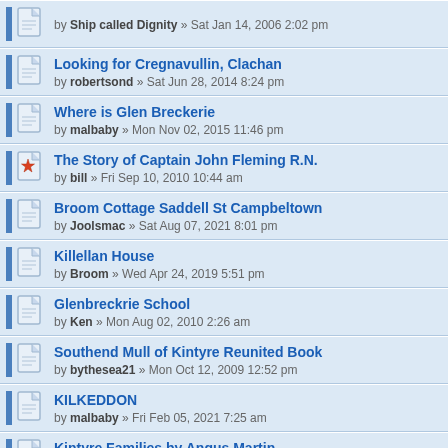by Ship called Dignity » Sat Jan 14, 2006 2:02 pm
Looking for Cregnavullin, Clachan
by robertsond » Sat Jun 28, 2014 8:24 pm
Where is Glen Breckerie
by malbaby » Mon Nov 02, 2015 11:46 pm
The Story of Captain John Fleming R.N.
by bill » Fri Sep 10, 2010 10:44 am
Broom Cottage Saddell St Campbeltown
by Joolsmac » Sat Aug 07, 2021 8:01 pm
Killellan House
by Broom » Wed Apr 24, 2019 5:51 pm
Glenbreckrie School
by Ken » Mon Aug 02, 2010 2:26 am
Southend Mull of Kintyre Reunited Book
by bythesea21 » Mon Oct 12, 2009 12:52 pm
KILKEDDON
by malbaby » Fri Feb 05, 2021 7:25 am
Kintyre Families by Angus Martin
by kintyre forum news 4 » Sat Jul 16, 2011 4:53 pm
Resurrection Man John McLean
by quests » Mon Dec 20, 2010 4:29 pm
The Putechan Hotel / The Hunting Lodge Hotel